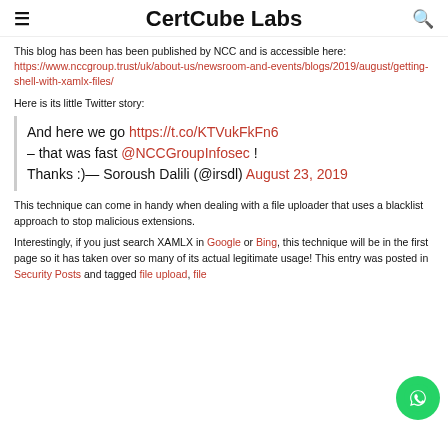CertCube Labs
This blog has been has been published by NCC and is accessible here: https://www.nccgroup.trust/uk/about-us/newsroom-and-events/blogs/2019/august/getting-shell-with-xamlx-files/
Here is its little Twitter story:
And here we go https://t.co/KTVukFkFn6 – that was fast @NCCGroupInfosec ! Thanks :)— Soroush Dalili (@irsdl) August 23, 2019
This technique can come in handy when dealing with a file uploader that uses a blacklist approach to stop malicious extensions.
Interestingly, if you just search XAMLX in Google or Bing, this technique will be in the first page so it has taken over so many of its actual legitimate usage! This entry was posted in Security Posts and tagged file upload, file